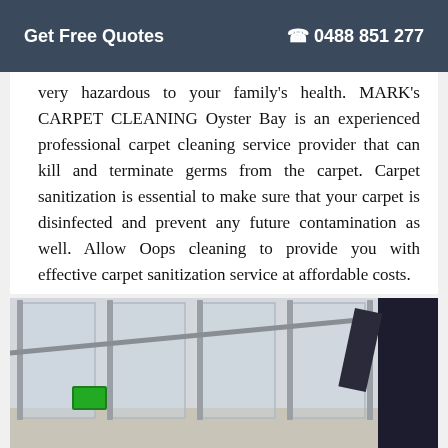Get Free Quotes   📞 0488 851 277
very hazardous to your family's health. MARK's CARPET CLEANING Oyster Bay is an experienced professional carpet cleaning service provider that can kill and terminate germs from the carpet. Carpet sanitization is essential to make sure that your carpet is disinfected and prevent any future contamination as well. Allow Oops cleaning to provide you with effective carpet sanitization service at affordable costs.
[Figure (photo): Photo of a glass and metal staircase railing in a modern building interior, with a green exit sign visible on the left and a person holding the railing on the right side.]